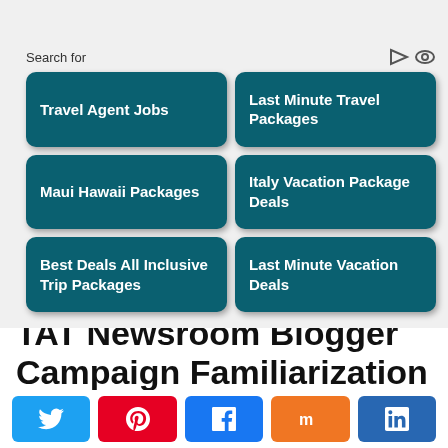Search for
Travel Agent Jobs
Last Minute Travel Packages
Maui Hawaii Packages
Italy Vacation Package Deals
Best Deals All Inclusive Trip Packages
Last Minute Vacation Deals
TAT Newsroom Blogger Campaign Familiarization Trip
Search for
[Figure (infographic): Five social share buttons: Twitter (blue), Pinterest (red), Facebook (blue), Mix (orange), LinkedIn (dark blue)]